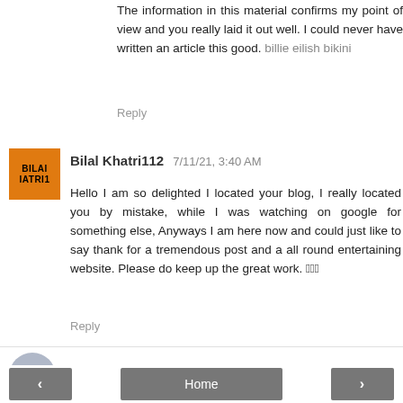The information in this material confirms my point of view and you really laid it out well. I could never have written an article this good. billie eilish bikini
Reply
Bilal Khatri112  7/11/21, 3:40 AM
Hello I am so delighted I located your blog, I really located you by mistake, while I was watching on google for something else, Anyways I am here now and could just like to say thank for a tremendous post and a all round entertaining website. Please do keep up the great work. 🏻🏻🏻
Reply
Enter Comment
Home